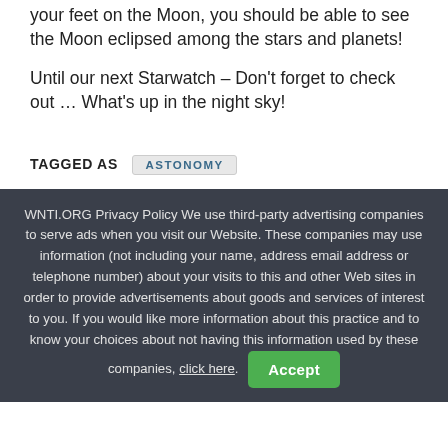your feet on the Moon, you should be able to see the Moon eclipsed among the stars and planets!
Until our next Starwatch – Don't forget to check out … What's up in the night sky!
TAGGED AS  ASTONOMY
WNTI.ORG Privacy Policy We use third-party advertising companies to serve ads when you visit our Website. These companies may use information (not including your name, address email address or telephone number) about your visits to this and other Web sites in order to provide advertisements about goods and services of interest to you. If you would like more information about this practice and to know your choices about not having this information used by these companies, click here.